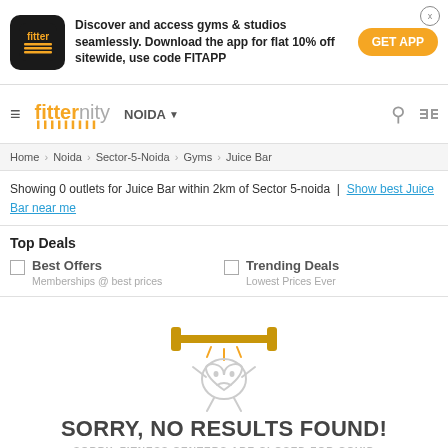[Figure (screenshot): Fitternity app banner with logo, promotional text, and GET APP button]
[Figure (screenshot): Fitternity website navigation bar with hamburger menu, logo, city selector (NOIDA), search and filter icons]
Home › Noida › Sector-5-Noida › Gyms › Juice Bar
Showing 0 outlets for Juice Bar within 2km of Sector 5-noida | Show best Juice Bar near me
Top Deals
Best Offers
Memberships @ best prices
Trending Deals
Lowest Prices Ever
[Figure (illustration): Cartoon illustration of a sad heart character lifting weights, used as no-results graphic]
SORRY, NO RESULTS FOUND!
SORRY, FITNESS CENTERS ARE CLOSED FOR COVID